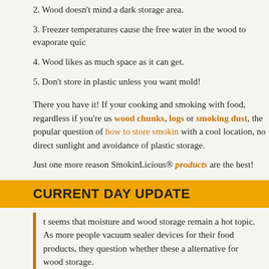2. Wood doesn't mind a dark storage area.
3. Freezer temperatures cause the free water in the wood to evaporate quic
4. Wood likes as much space as it can get.
5. Don't store in plastic unless you want mold!
There you have it! If your cooking and smoking with food, regardless if you're us wood chunks, logs or smoking dust, the popular question of how to store smokin with a cool location, no direct sunlight and avoidance of plastic storage.
Just one more reason SmokinLicious® products are the best!
CURRENT DAY UPDATE
It seems that moisture and wood storage remain a hot topic. As more people vacuum sealer devices for their food products, they question whether these a alternative for wood storage.
The short answer is, no. Let's take a look at the reasons why.
Vacuum Sealing Wood is Not a Good Idea!